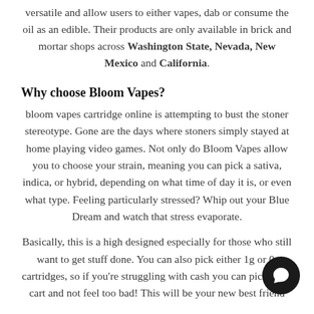versatile and allow users to either vapes, dab or consume the oil as an edible. Their products are only available in brick and mortar shops across Washington State, Nevada, New Mexico and California.
Why choose Bloom Vapes?
bloom vapes cartridge online is attempting to bust the stoner stereotype. Gone are the days where stoners simply stayed at home playing video games. Not only do Bloom Vapes allow you to choose your strain, meaning you can pick a sativa, indica, or hybrid, depending on what time of day it is, or even what type. Feeling particularly stressed? Whip out your Blue Dream and watch that stress evaporate.
Basically, this is a high designed especially for those who still want to get stuff done. You can also pick either 1g or 0g cartridges, so if you're struggling with cash you can pick 0.5g cart and not feel too bad! This will be your new best friend